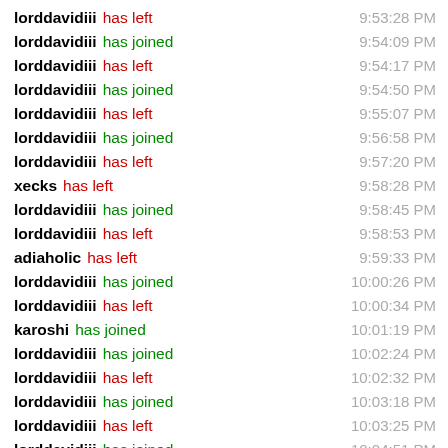lorddavidiii has left 9:53:28 PM
lorddavidiii has joined 9:54:09 PM
lorddavidiii has left 9:54:17 PM
lorddavidiii has joined 9:54:50 PM
lorddavidiii has left 9:55:07 PM
lorddavidiii has joined 9:56:58 PM
lorddavidiii has left 9:57:20 PM
xecks has left 9:58:28 PM
lorddavidiii has joined 9:58:45 PM
lorddavidiii has left 9:58:53 PM
adiaholic has left 9:59:33 PM
lorddavidiii has joined 10:00:26 PM
lorddavidiii has left 10:00:34 PM
karoshi has joined 10:01:19 PM
lorddavidiii has joined 10:02:24 PM
lorddavidiii has left 10:02:32 PM
lorddavidiii has joined 10:03:18 PM
lorddavidiii has left 10:03:25 PM
lorddavidiii has joined 10:04:51 PM
lorddavidiii has left 10:05:00 PM
lorddavidiii has joined 10:06:24 PM
lorddavidiii has left 10:06:35 PM
lorddavidiii has joined 10:07:10 PM
lorddavidiii has left 10:07:17 PM
mjk has left 10:07:29 PM